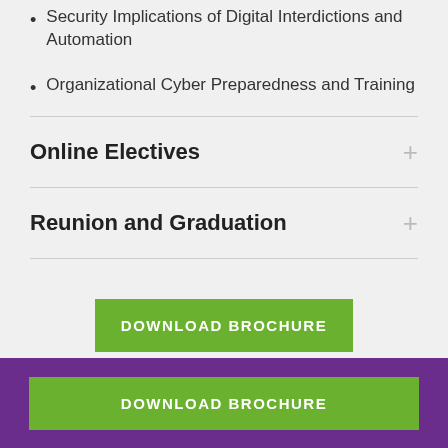Security Implications of Digital Interdictions and Automation
Organizational Cyber Preparedness and Training
Online Electives
Reunion and Graduation
DOWNLOAD BROCHURE
DOWNLOAD BROCHURE